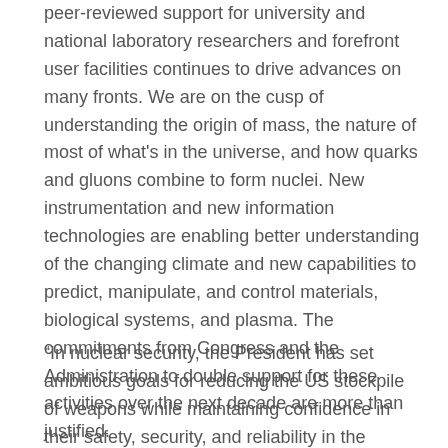peer-reviewed support for university and national laboratory researchers and forefront user facilities continues to drive advances on many fronts. We are on the cusp of understanding the origin of mass, the nature of most of what's in the universe, and how quarks and gluons combine to form nuclei. New instrumentation and new information technologies are enabling better understanding of the changing climate and new capabilities to predict, manipulate, and control materials, biological systems, and plasma. The commitments from Congress and the Administration to double support for these activities over the next decade are more than justified.
“In nuclear security, the President has set ambitious goals for reducing the US stockpile of weapons while maintaining confidence in their safety, security, and reliability in the absence of nuclear